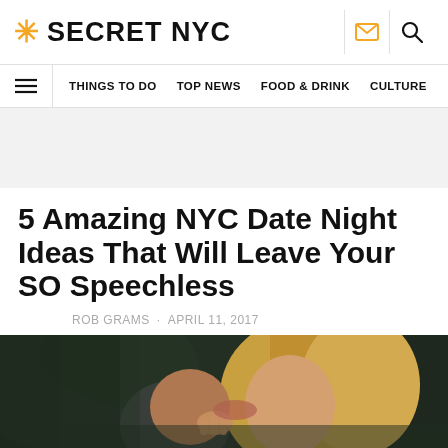SECRET NYC
THINGS TO DO · TOP NEWS · FOOD & DRINK · CULTURE
[Figure (photo): Gray/light advertisement banner area]
5 Amazing NYC Date Night Ideas That Will Leave Your SO Speechless
ROB GRAMS · APRIL 11, 2017
[Figure (photo): Close-up photo of a couple kissing, woman with blonde hair, dark blurred background]